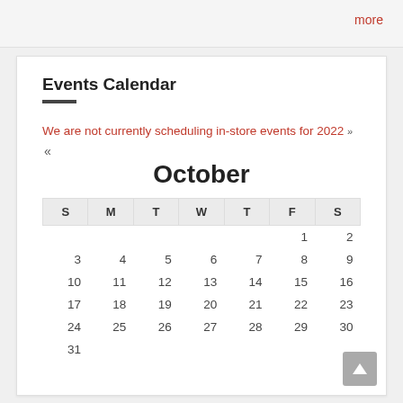more
Events Calendar
We are not currently scheduling in-store events for 2022
October
| S | M | T | W | T | F | S |
| --- | --- | --- | --- | --- | --- | --- |
|  |  |  |  |  | 1 | 2 |
| 3 | 4 | 5 | 6 | 7 | 8 | 9 |
| 10 | 11 | 12 | 13 | 14 | 15 | 16 |
| 17 | 18 | 19 | 20 | 21 | 22 | 23 |
| 24 | 25 | 26 | 27 | 28 | 29 | 30 |
| 31 |  |  |  |  |  |  |